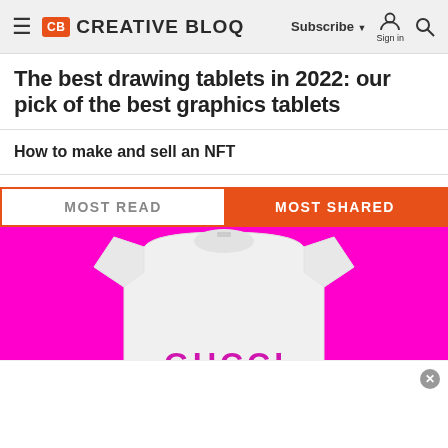Creative Bloq — Subscribe | Sign in | Search
The best drawing tablets in 2022: our pick of the best graphics tablets
How to make and sell an NFT
[Figure (other): Tab bar with MOST READ and MOST SHARED tabs, MOST SHARED active in orange]
[Figure (photo): White Gucci t-shirt on bright magenta/pink background, with GUCCI text partially visible at the bottom of the image]